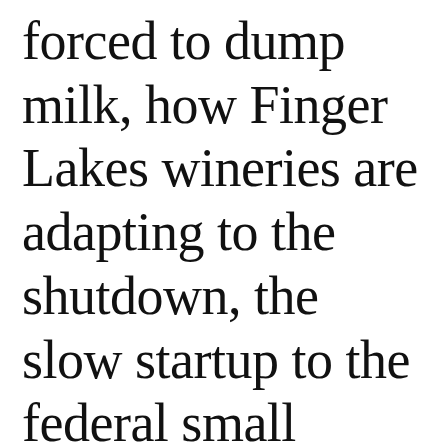forced to dump milk, how Finger Lakes wineries are adapting to the shutdown, the slow startup to the federal small business stimulus